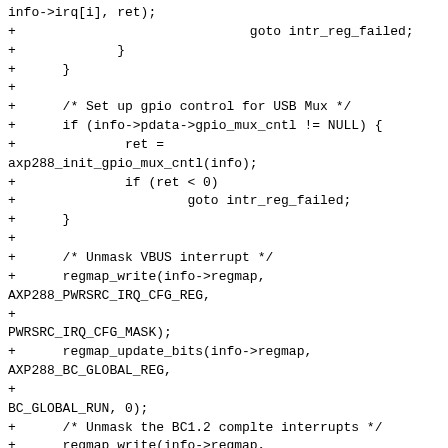info->irq[i], ret);
+                              goto intr_reg_failed;
+             }
+      }
+
+      /* Set up gpio control for USB Mux */
+      if (info->pdata->gpio_mux_cntl != NULL) {
+              ret =
axp288_init_gpio_mux_cntl(info);
+              if (ret < 0)
+                      goto intr_reg_failed;
+      }
+
+      /* Unmask VBUS interrupt */
+      regmap_write(info->regmap,
AXP288_PWRSRC_IRQ_CFG_REG,
+
PWRSRC_IRQ_CFG_MASK);
+      regmap_update_bits(info->regmap,
AXP288_BC_GLOBAL_REG,
+
BC_GLOBAL_RUN, 0);
+      /* Unmask the BC1.2 complte interrupts */
+      regmap_write(info->regmap,
AXP288_BC12_IRQ_CFG_REG, BC12_IRQ_CFG_MASK);
+      /* Enable the charger detection logic */
+      regmap_update_bits(info->regmap,
AXP288_BC_GLOBAL_REG,
+
BC_GLOBAL_RUN, BC_GLOBAL_RUN);